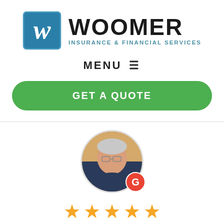[Figure (logo): Woomer Insurance & Financial Services logo with blue square icon containing a stylized W and bold WOOMER text with subtitle]
MENU ☰
GET A QUOTE
[Figure (photo): Circular profile photo of a man wearing glasses and a dark polo shirt, with a Google 'G' badge in the bottom right corner]
[Figure (other): Five gold star rating icons]